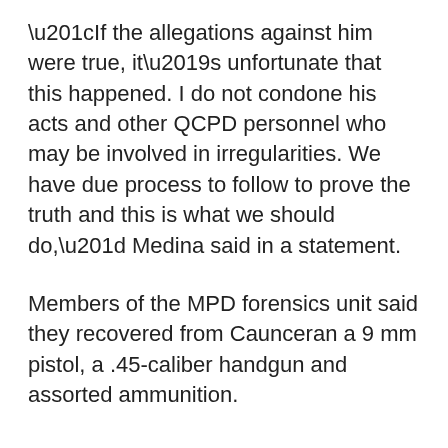“If the allegations against him were true, it’s unfortunate that this happened. I do not condone his acts and other QCPD personnel who may be involved in irregularities. We have due process to follow to prove the truth and this is what we should do,” Medina said in a statement.
Members of the MPD forensics unit said they recovered from Caunceran a 9 mm pistol, a .45-caliber handgun and assorted ammunition.